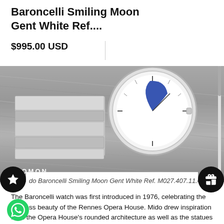Baroncelli Smiling Moon Gent White Ref....
$995.00 USD
[Figure (photo): Close-up photograph of a Mido Baroncelli watch with white dial and blue moon hand, on a silver bracelet, placed on a wooden surface. The word GNOMON appears in white text at the bottom left of the image.]
do Baroncelli Smiling Moon Gent White Ref. M027.407.11.010
The Baroncelli watch was first introduced in 1976, celebrating the timeless beauty of the Rennes Opera House. Mido drew inspiration from the Opera House's rounded architecture as well as the statues of the Muses of Antiquity placed on top of the facade. In 2006, to mark the 30th anniversary of the collection, Mido reintroduced the Baroncelli lineup into their collection. The new watches continue to perpetuate the spirit of the line and are inspired by the sublime and timeless aesthetic of stringed instruments.